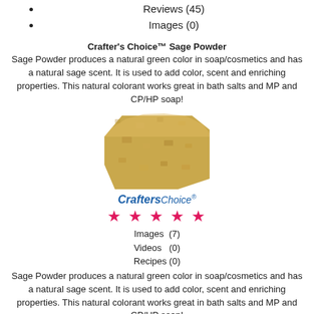Reviews (45)
Images (0)
Crafter's Choice™ Sage Powder
Sage Powder produces a natural green color in soap/cosmetics and has a natural sage scent. It is used to add color, scent and enriching properties. This natural colorant works great in bath salts and MP and CP/HP soap!
[Figure (photo): Photo of sage powder, a yellowish-green loose powder pile on white background]
[Figure (logo): Crafter's Choice brand logo in blue italic text]
[Figure (other): Five pink/red star rating icons]
Images  (7)
Videos   (0)
Recipes (0)
Sage Powder produces a natural green color in soap/cosmetics and has a natural sage scent. It is used to add color, scent and enriching properties. This natural colorant works great in bath salts and MP and CP/HP soap!
Approved Cosmetic Uses & Our Test Results
| General: Yes | Lip Products: Yes |
| Bath Water: Yes | Migrates: No |
| Finish: Matte | Eye Products: No |
| CP Soap Stable: No | Nails: No |
| UV Fade: Yes | MP Soap Only: No |